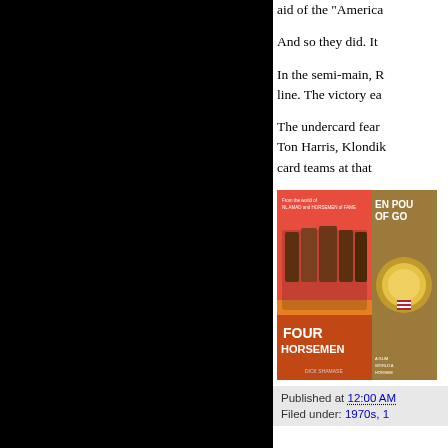aid of the "America
And so they did. It
In the semi-main, R
line. The victory ea
The undercard fear
Ton Harris, Klondik
card teams at that
[Figure (photo): Book covers: 'Four Horsemen' (orange/red cover with group photo) and 'Ten Pounds of Gold' (partially visible, gold/brown cover) book covers shown side by side]
Published at 12:00 AM
Filed under: 1970s, 1